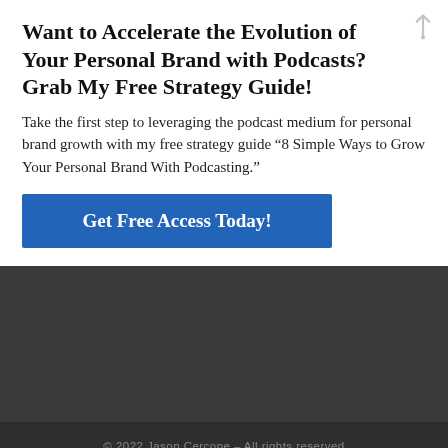Want to Accelerate the Evolution of Your Personal Brand with Podcasts? Grab My Free Strategy Guide!
Take the first step to leveraging the podcast medium for personal brand growth with my free strategy guide “8 Simple Ways to Grow Your Personal Brand With Podcasting.”
Get Free Access Today!
© 2022 Jason Cercone – All rights reserved
Powered by WordPress – Designed with the Customizr theme